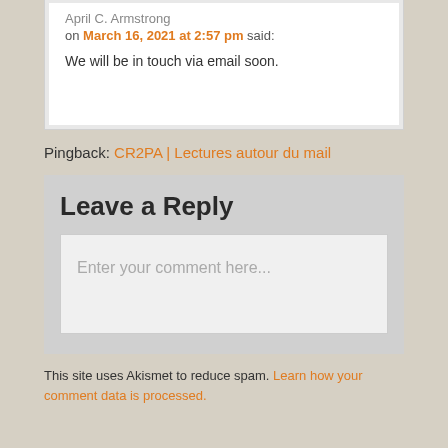April C. Armstrong
on March 16, 2021 at 2:57 pm said:
We will be in touch via email soon.
Pingback: CR2PA | Lectures autour du mail
Leave a Reply
Enter your comment here...
This site uses Akismet to reduce spam. Learn how your comment data is processed.